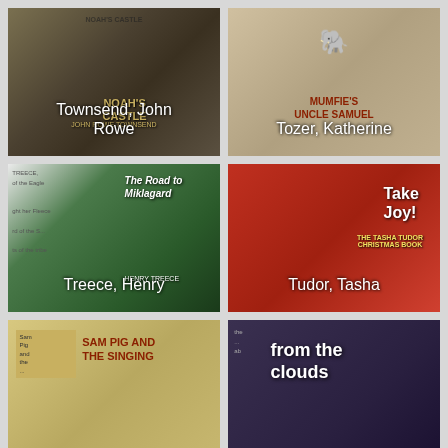[Figure (photo): Photo of book: Noah's Castle by John Rowe Townsend]
[Figure (photo): Photo of book: Mumfie's Uncle Samuel by Tozer, Katherine]
[Figure (photo): Photo of book: The Road to Miklagard by Treece, Henry]
[Figure (photo): Photo of book: Take Joy! The Tasha Tudor Christmas Book by Tudor, Tasha]
[Figure (photo): Photo of book: Sam Pig and the Singing (partial view)]
[Figure (photo): Photo of book: from the clouds (partial view)]